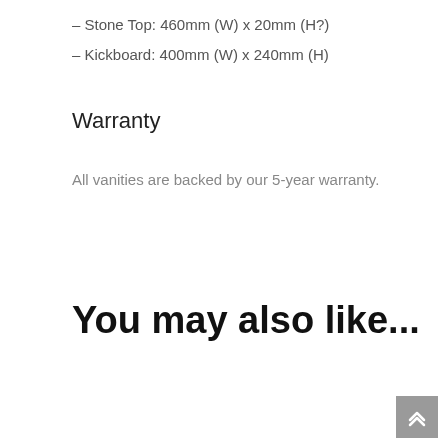– Stone Top: 460mm (W) x 20mm (H?)
– Kickboard: 400mm (W) x 240mm (H)
Warranty
All vanities are backed by our 5-year warranty.
You may also like...